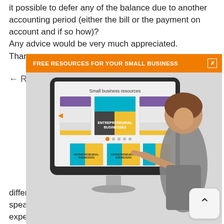it possible to defer any of the balance due to another accounting period (either the bill or the payment on account and if so how)? Any advice would be very much appreciated. Thank
[Figure (infographic): Orange banner reading 'FREE RESOURCES FOR YOUR SMALL BUSINESS' with a close button, overlaid on a promotional image showing a computer monitor displaying 'Small business resources' with book/guide covers and a woman pointing at the screen.]
different to the estimated amounts. You should speak to your accountant to do a calculation expected tax for 2016/17 to then advise on the